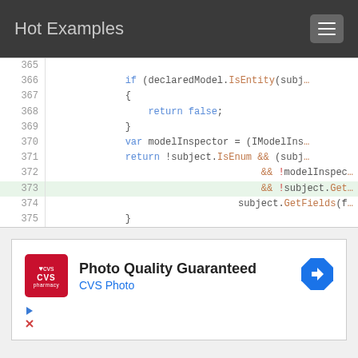Hot Examples
[Figure (screenshot): Code viewer showing lines 365-375 of C# source code with syntax highlighting. Line 373 is highlighted in green. Code shows an if block returning false, then var modelInspector assignment and a return statement with boolean conditions.]
[Figure (other): CVS Pharmacy advertisement: 'Photo Quality Guaranteed' with CVS Photo link and navigation arrow icon.]